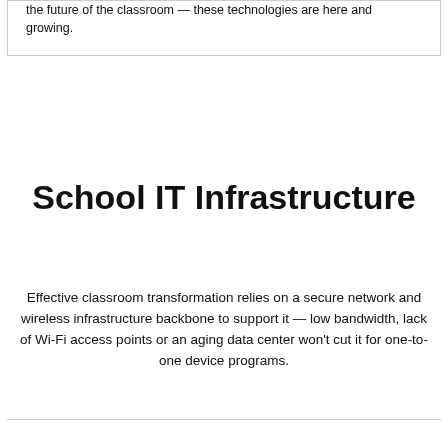the future of the classroom — these technologies are here and growing.
School IT Infrastructure
Effective classroom transformation relies on a secure network and wireless infrastructure backbone to support it — low bandwidth, lack of Wi-Fi access points or an aging data center won't cut it for one-to-one device programs.